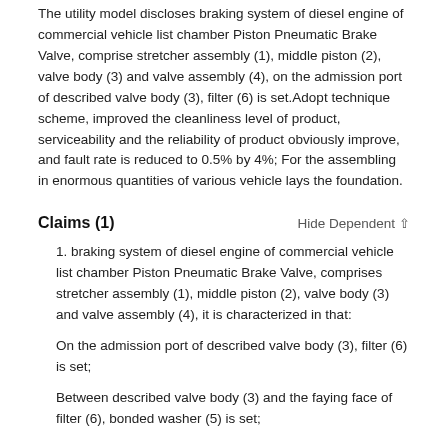The utility model discloses braking system of diesel engine of commercial vehicle list chamber Piston Pneumatic Brake Valve, comprise stretcher assembly (1), middle piston (2), valve body (3) and valve assembly (4), on the admission port of described valve body (3), filter (6) is set.Adopt technique scheme, improved the cleanliness level of product, serviceability and the reliability of product obviously improve, and fault rate is reduced to 0.5% by 4%; For the assembling in enormous quantities of various vehicle lays the foundation.
Claims (1)
1. braking system of diesel engine of commercial vehicle list chamber Piston Pneumatic Brake Valve, comprises stretcher assembly (1), middle piston (2), valve body (3) and valve assembly (4), it is characterized in that:
On the admission port of described valve body (3), filter (6) is set;
Between described valve body (3) and the faying face of filter (6), bonded washer (5) is set;